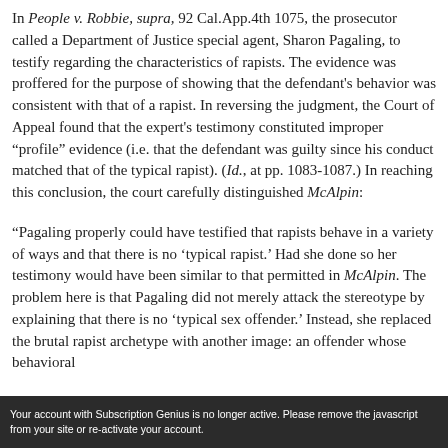In People v. Robbie, supra, 92 Cal.App.4th 1075, the prosecutor called a Department of Justice special agent, Sharon Pagaling, to testify regarding the characteristics of rapists. The evidence was proffered for the purpose of showing that the defendant's behavior was consistent with that of a rapist. In reversing the judgment, the Court of Appeal found that the expert's testimony constituted improper “profile” evidence (i.e. that the defendant was guilty since his conduct matched that of the typical rapist). (Id., at pp. 1083-1087.) In reaching this conclusion, the court carefully distinguished McAlpin:
“Pagaling properly could have testified that rapists behave in a variety of ways and that there is no ‘typical rapist.’ Had she done so her testimony would have been similar to that permitted in McAlpin. The problem here is that Pagaling did not merely attack the stereotype by explaining that there is no ‘typical sex offender.’ Instead, she replaced the brutal rapist archetype with another image: an offender whose behavioral
Your account with Subscription Genius is no longer active. Please remove the javascript from your site or re-activate your account.